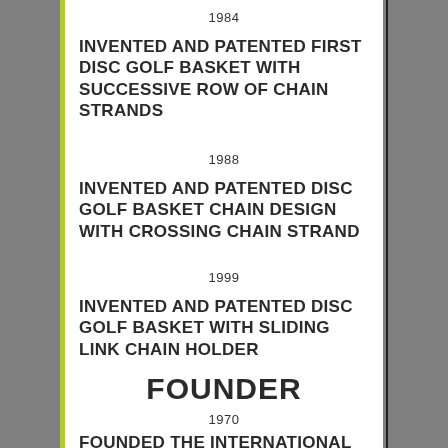1984
INVENTED AND PATENTED FIRST DISC GOLF BASKET WITH SUCCESSIVE ROW OF CHAIN STRANDS
1988
INVENTED AND PATENTED DISC GOLF BASKET CHAIN DESIGN WITH CROSSING CHAIN STRAND
1999
INVENTED AND PATENTED DISC GOLF BASKET WITH SLIDING LINK CHAIN HOLDER
FOUNDER
1970
FOUNDED THE INTERNATIONAL